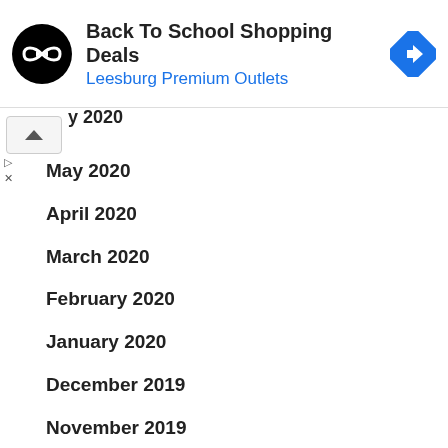[Figure (infographic): Ad banner: Back To School Shopping Deals - Leesburg Premium Outlets with black circular logo and blue diamond navigation icon]
2020 (partial, truncated)
May 2020
April 2020
March 2020
February 2020
January 2020
December 2019
November 2019
October 2019
September 2019
August 2019